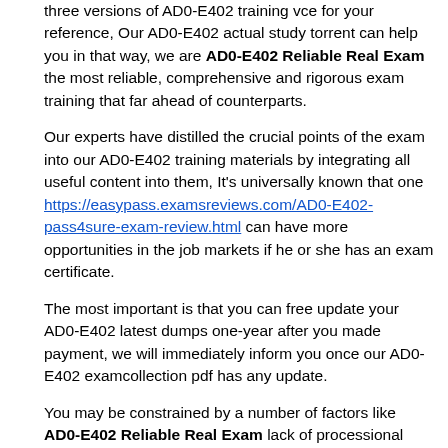three versions of AD0-E402 training vce for your reference, Our AD0-E402 actual study torrent can help you in that way, we are AD0-E402 Reliable Real Exam the most reliable, comprehensive and rigorous exam training that far ahead of counterparts.
Our experts have distilled the crucial points of the exam into our AD0-E402 training materials by integrating all useful content into them, It's universally known that one https://easypass.examsreviews.com/AD0-E402-pass4sure-exam-review.html can have more opportunities in the job markets if he or she has an exam certificate.
The most important is that you can free update your AD0-E402 latest dumps one-year after you made payment, we will immediately inform you once our AD0-E402 examcollection pdf has any update.
You may be constrained by a number of factors like AD0-E402 Reliable Real Exam lack of processional skills, time or money to deal with the practice exam ahead of you.